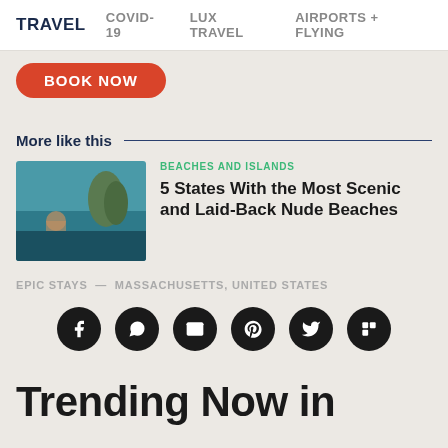TRAVEL  COVID-19  LUX TRAVEL  AIRPORTS + FLYING
[Figure (screenshot): Red rounded 'BOOK NOW' button]
More like this
[Figure (photo): Beach/ocean scene with rock formation and person in water]
BEACHES AND ISLANDS
5 States With the Most Scenic and Laid-Back Nude Beaches
EPIC STAYS — MASSACHUSETTS, UNITED STATES
[Figure (infographic): Social share icons row: Facebook, WhatsApp, Email, Pinterest, Twitter, Flipboard]
Trending Now in